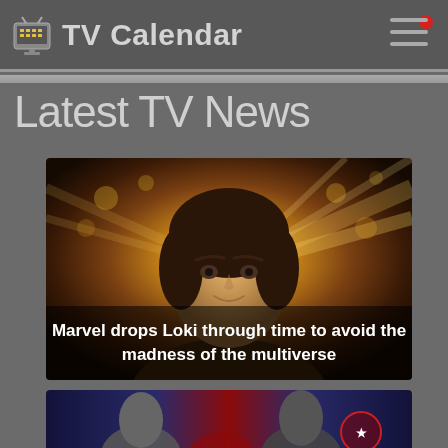TV Calendar
Latest TV News
[Figure (photo): Promotional image of Loki character from Marvel, golden glowing background with rays of light, man with brown hair looking forward]
Marvel drops Loki through time to avoid the madness of the multiverse
[Figure (photo): Promotional image showing two Marvel superhero characters in costume, dark blue/red background, partial view at bottom of page]